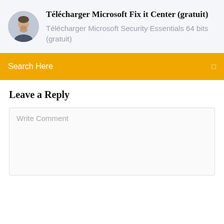[Figure (photo): Circular avatar photo of a man with short hair and beard, against a light background]
Télécharger Microsoft Fix it Center (gratuit)
Télécharger Microsoft Security Essentials 64 bits (gratuit)
Search Here
Leave a Reply
Write Comment